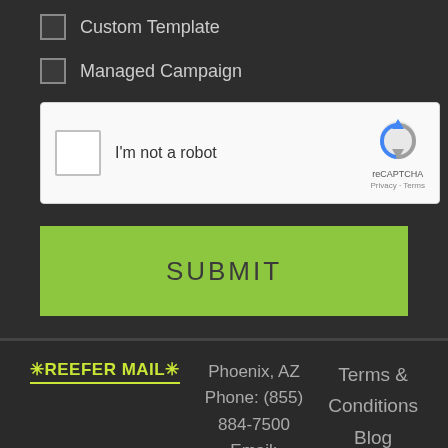Custom Template
Managed Campaign
[Figure (screenshot): reCAPTCHA widget with checkbox labeled 'I'm not a robot' and reCAPTCHA logo with Privacy and Terms links]
SUBMIT
Phoenix, AZ
Phone: (855) 884-7500
Email:
contact@reefer mail.com
Terms & Conditions
Blog
*REEFER MAIL*